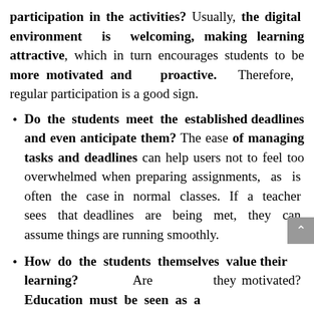participation in the activities? Usually, the digital environment is welcoming, making learning attractive, which in turn encourages students to be more motivated and proactive. Therefore, regular participation is a good sign.
Do the students meet the established deadlines and even anticipate them? The ease of managing tasks and deadlines can help users not to feel too overwhelmed when preparing assignments, as is often the case in normal classes. If a teacher sees that deadlines are being met, they can assume things are running smoothly.
How do the students themselves value their learning? Are they motivated? Education must be seen as a